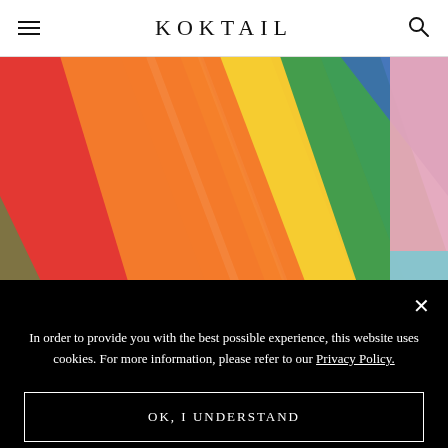KOKTAIL
[Figure (photo): Close-up of a rainbow pride flag against a light blue sky, with diagonal color bands of red, orange, yellow, green, blue, and a pink flag partially visible on the right.]
In order to provide you with the best possible experience, this website uses cookies. For more information, please refer to our Privacy Policy.
OK, I UNDERSTAND